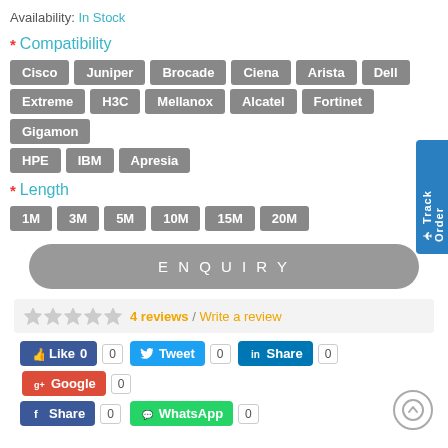Availability: In Stock
* Compatibility
Cisco, Juniper, Brocade, Ciena, Arista, Dell, Extreme, H3C, Mellanox, Alcatel, Fortinet, Gigamon, HPE, IBM, Apresia
* Length
1M, 3M, 5M, 10M, 15M, 20M
ENQUIRY
4 reviews / Write a review
Like 0  Tweet 0  Share 0  Google 0  Share 0  WhatsApp 0